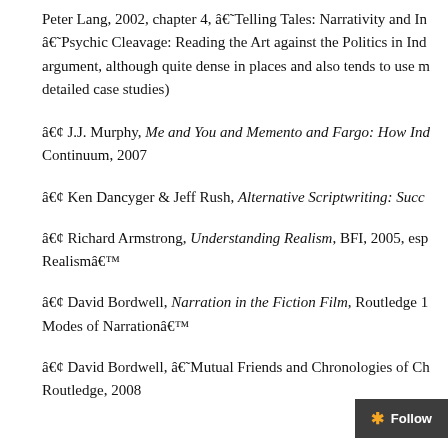Peter Lang, 2002, chapter 4, â€˜Telling Tales: Narrativity and Ind â€˜Psychic Cleavage: Reading the Art against the Politics in Ind argument, although quite dense in places and also tends to use m detailed case studies)
â€¢ J.J. Murphy, Me and You and Memento and Fargo: How Ind Continuum, 2007
â€¢ Ken Dancyger & Jeff Rush, Alternative Scriptwriting: Succ
â€¢ Richard Armstrong, Understanding Realism, BFI, 2005, esp Realismâ€™
â€¢ David Bordwell, Narration in the Fiction Film, Routledge 1 Modes of Narrationâ€™
â€¢ David Bordwell, â€˜Mutual Friends and Chronologies of Ch Routledge, 2008